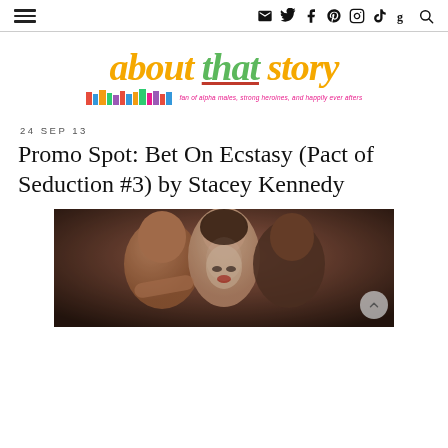[Navigation bar with hamburger menu and social icons: email, twitter, facebook, pinterest, instagram, tiktok, goodreads, search]
[Figure (logo): About That Story blog logo with colorful bookshelf illustration and tagline 'fan of alpha males, strong heroines, and happily ever afters']
24 SEP 13
Promo Spot: Bet On Ecstasy (Pact of Seduction #3) by Stacey Kennedy
[Figure (photo): Book cover or promo photo showing a woman with red lips between two men, dark background, moody romantic lighting]